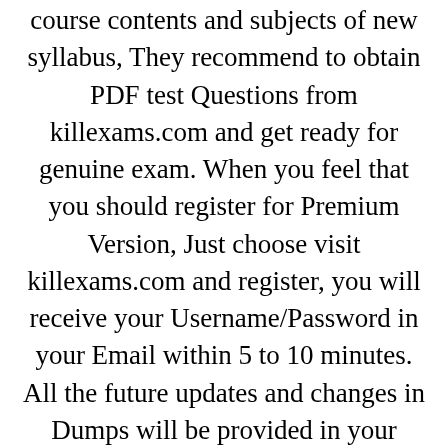course contents and subjects of new syllabus, They recommend to obtain PDF test Questions from killexams.com and get ready for genuine exam. When you feel that you should register for Premium Version, Just choose visit killexams.com and register, you will receive your Username/Password in your Email within 5 to 10 minutes. All the future updates and changes in Dumps will be provided in your obtain Account. You can obtain Premium test Dumps files as many times as you want, There is no limit.
Killexams.com has provided VCE practice test Software to Practice your test by Taking Test Frequently. It asks the Real test Questions and Marks Your Progress. You